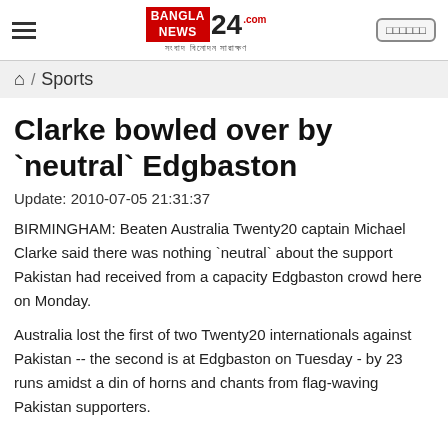BANGLA NEWS 24 - সংবাদ বিনোদন সারাক্ষণ
⌂ / Sports
Clarke bowled over by `neutral` Edgbaston
Update: 2010-07-05 21:31:37
BIRMINGHAM: Beaten Australia Twenty20 captain Michael Clarke said there was nothing `neutral` about the support Pakistan had received from a capacity Edgbaston crowd here on Monday.
Australia lost the first of two Twenty20 internationals against Pakistan -- the second is at Edgbaston on Tuesday - by 23 runs amidst a din of horns and chants from flag-waving Pakistan supporters.